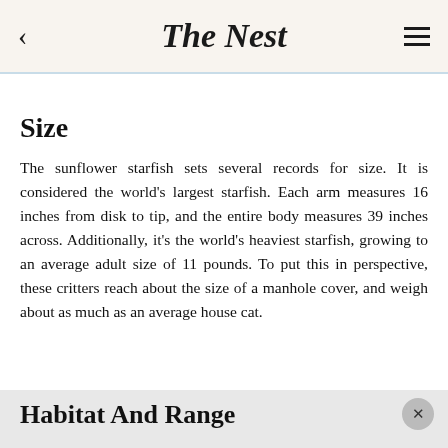The Nest
Size
The sunflower starfish sets several records for size. It is considered the world's largest starfish. Each arm measures 16 inches from disk to tip, and the entire body measures 39 inches across. Additionally, it's the world's heaviest starfish, growing to an average adult size of 11 pounds. To put this in perspective, these critters reach about the size of a manhole cover, and weigh about as much as an average house cat.
Habitat And Range